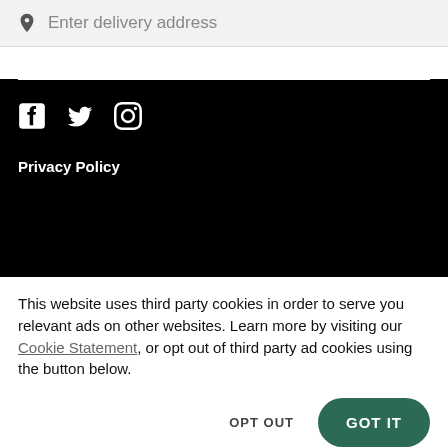Enter delivery address
[Figure (other): Social media icons: Facebook, Twitter, Instagram on black background with horizontal white divider line]
Privacy Policy
This website uses third party cookies in order to serve you relevant ads on other websites. Learn more by visiting our Cookie Statement, or opt out of third party ad cookies using the button below.
OPT OUT
GOT IT